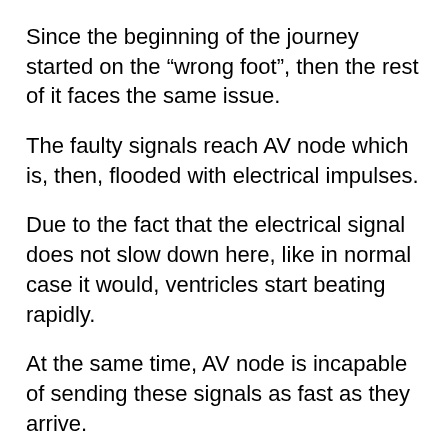Since the beginning of the journey started on the “wrong foot”, then the rest of it faces the same issue.
The faulty signals reach AV node which is, then, flooded with electrical impulses.
Due to the fact that the electrical signal does not slow down here, like in normal case it would, ventricles start beating rapidly.
At the same time, AV node is incapable of sending these signals as fast as they arrive.
This leads to a problem! Although ventricles are beating very fast, that’s still not enough to catch up since atria are beating even faster.
As a result, atria and ventricles do not even beat in s